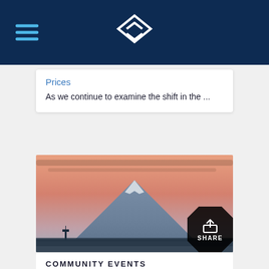Prices
As we continue to examine the shift in the ...
[Figure (photo): Mountain (likely Mt. Rainier) at sunset with pink/orange sky and Seattle skyline silhouette in the foreground]
COMMUNITY EVENTS